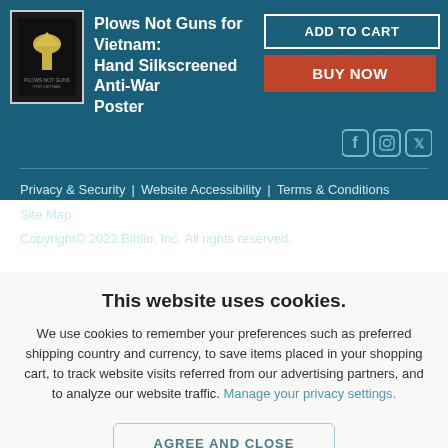[Figure (photo): Product thumbnail image of Plows Not Guns for Vietnam anti-war poster, dark background with bird/eagle graphic]
Plows Not Guns for Vietnam: Hand Silkscreened Anti-War Poster
ADD TO CART
BUY NOW
[Figure (other): Social media icons: Facebook, Instagram, Twitter on dark teal background]
Privacy & Security | Website Accessibility | Terms & Conditions
Site Map
Copyright© 2022 Biblio, Inc. All rights reserved.
This website uses cookies.
We use cookies to remember your preferences such as preferred shipping country and currency, to save items placed in your shopping cart, to track website visits referred from our advertising partners, and to analyze our website traffic. Manage your privacy settings.
AGREE AND CLOSE